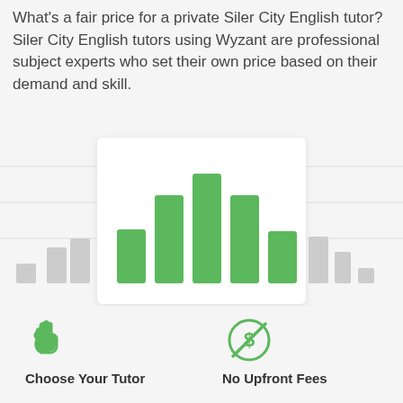What's a fair price for a private Siler City English tutor? Siler City English tutors using Wyzant are professional subject experts who set their own price based on their demand and skill.
[Figure (bar-chart): Tutor price distribution]
[Figure (illustration): Hand pointer icon with label Choose Your Tutor]
[Figure (illustration): No money / no upfront fees icon with label No Upfront Fees]